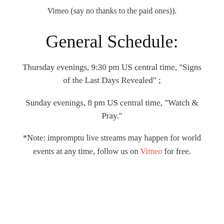Vimeo (say no thanks to the paid ones)).
General Schedule:
Thursday evenings, 9:30 pm US central time, "Signs of the Last Days Revealed" ;
Sunday evenings, 8 pm US central time, "Watch & Pray."
*Note: impromptu live streams may happen for world events at any time, follow us on Vimeo for free.